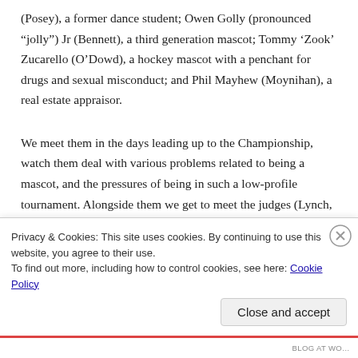(Posey), a former dance student; Owen Golly (pronounced “jolly”) Jr (Bennett), a third generation mascot; Tommy ‘Zook’ Zucarello (O’Dowd), a hockey mascot with a penchant for drugs and sexual misconduct; and Phil Mayhew (Moynihan), a real estate appraisor.
We meet them in the days leading up to the Championship, watch them deal with various problems related to being a mascot, and the pressures of being in such a low-profile tournament. Alongside them we get to meet the judges (Lynch, Lake, Begley Jr), the Championship organiser ...
Privacy & Cookies: This site uses cookies. By continuing to use this website, you agree to their use.
To find out more, including how to control cookies, see here: Cookie Policy